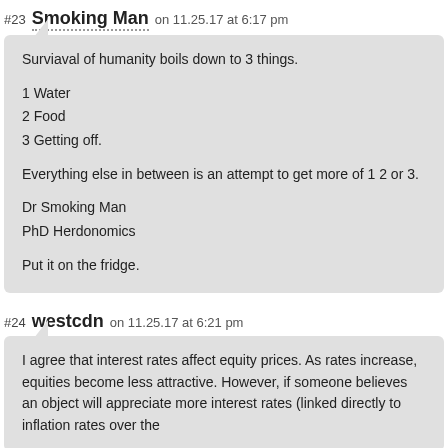#23 Smoking Man on 11.25.17 at 6:17 pm
Surviaval of humanity boils down to 3 things.

1 Water
2 Food
3 Getting off.

Everything else in between is an attempt to get more of 1 2 or 3.

Dr Smoking Man
PhD Herdonomics

Put it on the fridge.
#24 westcdn on 11.25.17 at 6:21 pm
I agree that interest rates affect equity prices. As rates increase, equities become less attractive. However, if someone believes an object will appreciate more interest rates (linked directly to inflation rates over the